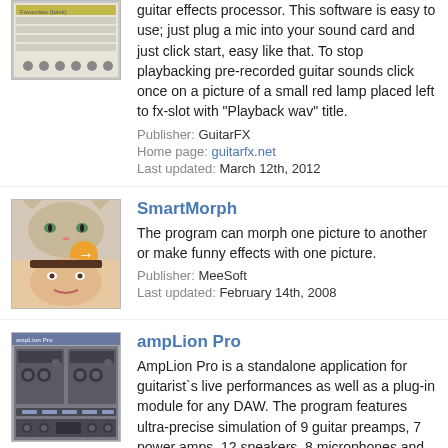[Figure (screenshot): Small screenshot thumbnail of guitar effects software with yellow/green interface]
guitar effects processor. This software is easy to use; just plug a mic into your sound card and just click start, easy like that. To stop playbacking pre-recorded guitar sounds click once on a picture of a small red lamp placed left to fx-slot with "Playback wav" title.
Publisher: GuitarFX
Home page: guitarfx.net
Last updated: March 12th, 2012
[Figure (photo): Thumbnail showing image morphing example: cat face and human face]
SmartMorph
The program can morph one picture to another or make funny effects with one picture.
Publisher: MeeSoft
Last updated: February 14th, 2008
[Figure (screenshot): Screenshot thumbnail of ampLion Pro guitar amplifier simulation software]
ampLion Pro
AmpLion Pro is a standalone application for guitarist`s live performances as well as a plug-in module for any DAW. The program features ultra-precise simulation of 9 guitar preamps, 7 power amps, 12 speakers, 8 microphones and 30 effects deliver extra wide variety of unique guitar sounds.
Publisher: Audiffex
Last updated: May 27th, 2020